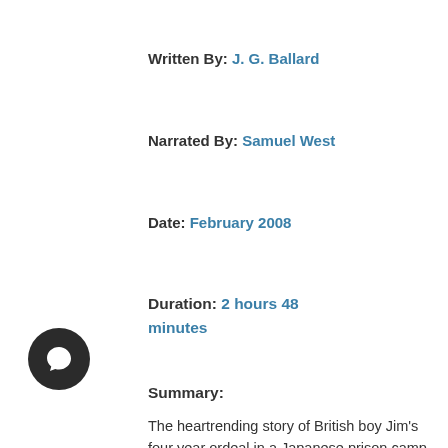Written By: J. G. Ballard
Narrated By: Samuel West
Date: February 2008
Duration: 2 hours 48 minutes
Summary:
The heartrending story of British boy Jim's four year ordeal in a Japanese prison camp during the second world war. Filmed by Steven Spielberg.
Now available for the first time on CD.
Based on J. G. Ballard's own childhood, this is the extraordinary account of a boy's life in Japanese-occupied wartime Shanghai – a mesmerising, hypnotically compelling novel of war, of starvation and survival, of internment camps and death marches. It